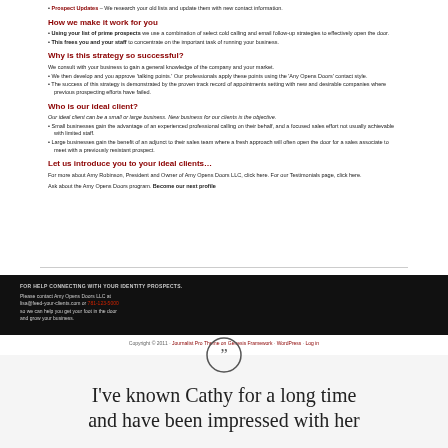Prospect Updates – We research your old lists and update them with new contact information.
How we make it work for you
Using your list of prime prospects we use a combination of select cold calling and email follow-up strategies to effectively open the door.
This frees you and your staff to concentrate on the important task of running your business.
Why is this strategy so successful?
We consult with your business to gain a general knowledge of the company and your market.
We then develop and you approve 'talking points.' Our professionals apply these points using the 'Any Opens Doors' contact style.
The success of this strategy is demonstrated by the proven track record of appointments setting with new and desirable companies where previous prospecting efforts have failed.
Who is our ideal client?
Our ideal client can be a small or large business. New business for our clients is the objective.
Small businesses gain the advantage of an experienced professional calling on their behalf, and a focused sales effort not usually achievable with limited staff.
Large businesses gain the benefit of an adjunct to their sales team where a fresh approach will often open the door for a sales associate to meet with a previously resistant prospect.
Let us introduce you to your ideal clients…
For more about Amy Robinson, President and Owner of Amy Opens Doors LLC, click here. For our Testimonials page, click here.
Ask about the Amy Opens Doors program. Become our next profile
FOR HELP CONNECTING WITH YOUR IDENTITY PROSPECTS.

Please contact Amy Opens Doors LLC at lisa@feed-your-clients.com or 781-123-5000 so we can help you get your foot in the door and grow your business.
Copyright © 2011 · Journalist Pro Theme on Genesis Framework · WordPress · Log in
I've known Cathy for a long time and have been impressed with her